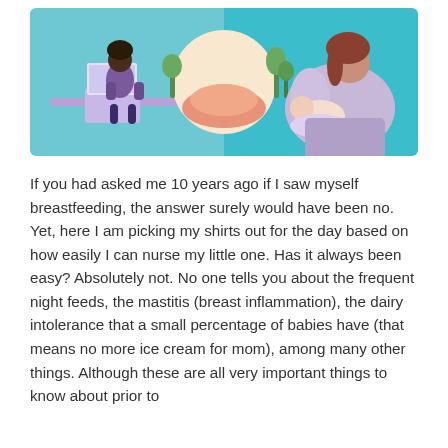[Figure (illustration): Colorful illustration with teal background showing three scenes: a woman working at a laptop on the left, a baby feeding setup in the center with a peachy/salmon colored cushion and plants, and a woman breastfeeding a baby on the right.]
If you had asked me 10 years ago if I saw myself breastfeeding, the answer surely would have been no. Yet, here I am picking my shirts out for the day based on how easily I can nurse my little one. Has it always been easy? Absolutely not. No one tells you about the frequent night feeds, the mastitis (breast inflammation), the dairy intolerance that a small percentage of babies have (that means no more ice cream for mom), among many other things. Although these are all very important things to know about prior to